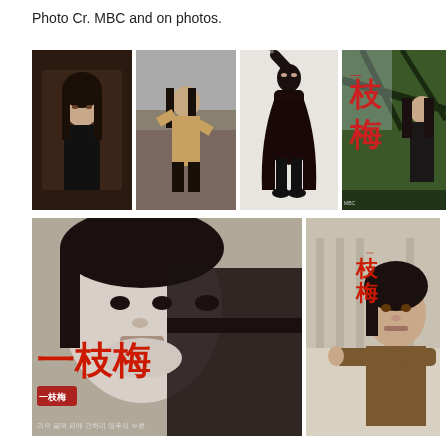Photo Cr. MBC and on photos.
[Figure (photo): Collection of promotional photos from MBC Korean drama 일지매 (Iljimae) featuring the main actor in various costumes and poses including ninja/assassin outfit, outdoor scenes, and drama posters with Chinese/Korean characters 一枝梅]
[Figure (photo): Top row left: Actor in dark indoor setting with long hair]
[Figure (photo): Top row center-left: Actor in fighting stance outdoors]
[Figure (photo): Top row center-right: Actor in full black ninja assassin costume standing]
[Figure (photo): Top row right: Drama poster with 一枝梅 Chinese characters and actor in traditional Korean costume outdoors]
[Figure (photo): Bottom left: Large black and white drama poster showing split face - half actor half masked, with 一枝梅 logo and Korean tagline]
[Figure (photo): Bottom right: Actor in outdoor winter/snowy scene with 一枝梅 logo]